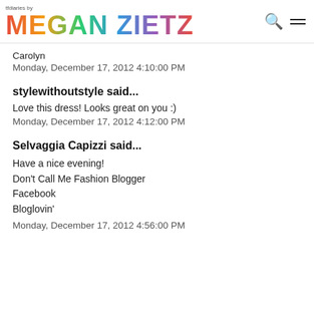tfdiaries by MEGAN ZIETZ
Carolyn
Monday, December 17, 2012 4:10:00 PM
stylewithoutstyle said...
Love this dress! Looks great on you :)
Monday, December 17, 2012 4:12:00 PM
Selvaggia Capizzi said...
Have a nice evening!
Don't Call Me Fashion Blogger
Facebook
Bloglovin'
Monday, December 17, 2012 4:56:00 PM